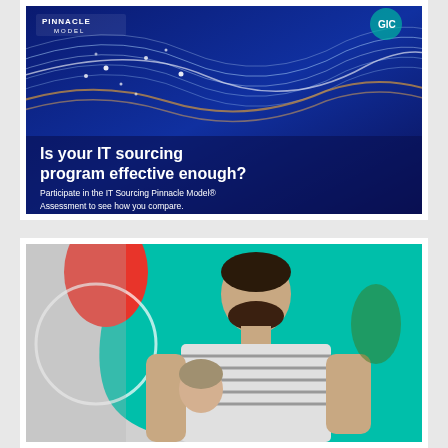[Figure (illustration): Dark blue banner advertisement for IT Sourcing Pinnacle Model Assessment with wave graphics, logos for Pinnacle Model and GIC at top, and white text reading 'Is your IT sourcing program effective enough? Participate in the IT Sourcing Pinnacle Model® Assessment to see how you compare.']
[Figure (photo): Advertisement banner with teal and red background shapes, showing a man in a striped shirt looking down at a baby, working from home context]